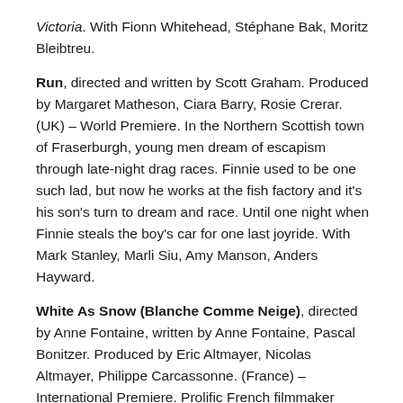Victoria. With Fionn Whitehead, Stéphane Bak, Moritz Bleibtreu.
Run, directed and written by Scott Graham. Produced by Margaret Matheson, Ciara Barry, Rosie Crerar. (UK) – World Premiere. In the Northern Scottish town of Fraserburgh, young men dream of escapism through late-night drag races. Finnie used to be one such lad, but now he works at the fish factory and it's his son's turn to dream and race. Until one night when Finnie steals the boy's car for one last joyride. With Mark Stanley, Marli Siu, Amy Manson, Anders Hayward.
White As Snow (Blanche Comme Neige), directed by Anne Fontaine, written by Anne Fontaine, Pascal Bonitzer. Produced by Eric Altmayer, Nicolas Altmayer, Philippe Carcassonne. (France) – International Premiere. Prolific French filmmaker Anne Fontaine recasts the tale of Snow White as the story of a sheltered young woman's sexual awakening in this racy feminist fable. With Lou de Laâge, Isabelle Huppert, Damien Bonnard, Vincent Macaigne, Benoît Poelvoorde, Charles Berling.